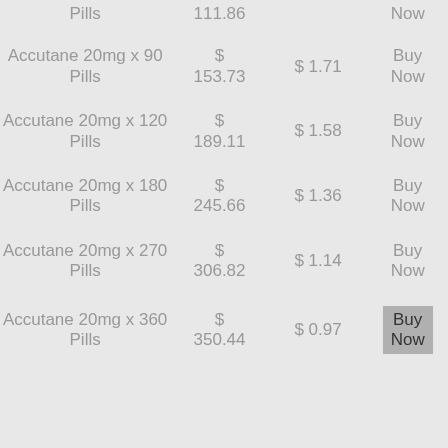| Product | Price | Per Pill | Action |
| --- | --- | --- | --- |
| Pills | 111.86 |  | Now |
| Accutane 20mg x 90 Pills | $ 153.73 | $ 1.71 | Buy Now |
| Accutane 20mg x 120 Pills | $ 189.11 | $ 1.58 | Buy Now |
| Accutane 20mg x 180 Pills | $ 245.66 | $ 1.36 | Buy Now |
| Accutane 20mg x 270 Pills | $ 306.82 | $ 1.14 | Buy Now |
| Accutane 20mg x 360 Pills | $ 350.44 | $ 0.97 | Buy Now |